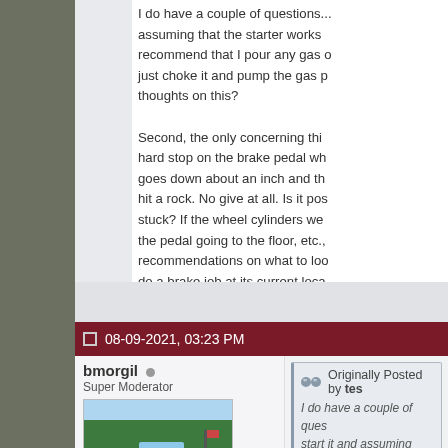I do have a couple of questions... assuming that the starter works recommend that I pour any gas just choke it and pump the gas p thoughts on this? Second, the only concerning thi hard stop on the brake pedal wh goes down about an inch and th hit a rock. No give at all. Is it pos stuck? If the wheel cylinders we the pedal going to the floor, etc., recommendations on what to lo do a brake job at its current loca a trailer without brakes, but it wo help stop. What would you recom
08-09-2021, 03:23 PM
bmorgil
Super Moderator
Join Date: Dec 2018
Location: Northwestern Ohio
Originally Posted by tes
I do have a couple of ques start it and assuming that the engine, would you rec or starter fluid in the carb pump the gas pedal to ge thoughts on this?